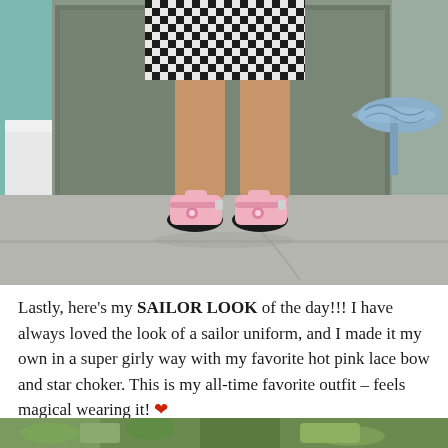[Figure (photo): Photo showing lower body of a person wearing a black and white gingham/checkered skirt and pink platform Mary Jane shoes with bow details, standing on concrete, with a white plastic chair on the left and a blue metal decorative table on the right, near a sliding glass door.]
Lastly, here’s my SAILOR LOOK of the day!!! I have always loved the look of a sailor uniform, and I made it my own in a super girly way with my favorite hot pink lace bow and star choker. This is my all-time favorite outfit – feels magical wearing it! ❤
[Figure (photo): Bottom strip of another photo showing green foliage/plants.]